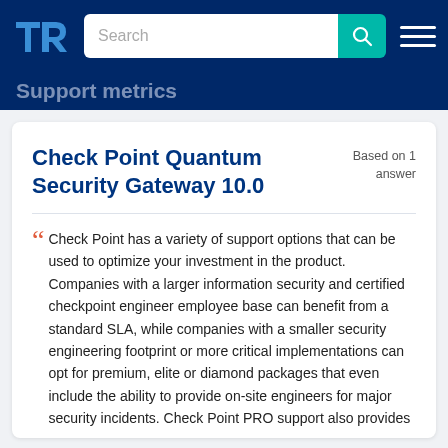TrustRadius logo, Search bar, Hamburger menu
Check Point Quantum Security Gateway 10.0
Based on 1 answer
Check Point has a variety of support options that can be used to optimize your investment in the product. Companies with a larger information security and certified checkpoint engineer employee base can benefit from a standard SLA, while companies with a smaller security engineering footprint or more critical implementations can opt for premium, elite or diamond packages that even include the ability to provide on-site engineers for major security incidents. Check Point PRO support also provides